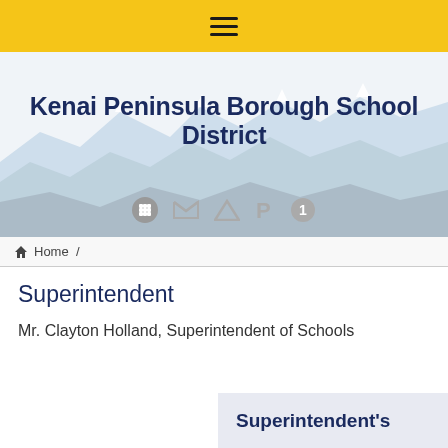[Figure (screenshot): Yellow navigation top bar with hamburger menu icon]
[Figure (illustration): Mountain landscape banner with snow-capped peaks in light blue and grey tones, with Kenai Peninsula Borough School District title text overlay and app icons (Google apps, Gmail, Drive, etc.)]
Home /
Superintendent
Mr. Clayton Holland, Superintendent of Schools
Superintendent's